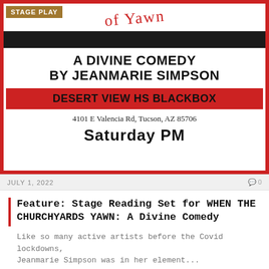[Figure (photo): Stage play poster for 'A Divine Comedy by Jeanmarie Simpson' at Desert View HS Blackbox, 4101 E Valencia Rd, Tucson, AZ 85706, with a red border and red banner. A 'STAGE PLAY' badge is shown in the top-left corner.]
JULY 1, 2022   0
Feature: Stage Reading Set for WHEN THE CHURCHYARDS YAWN: A Divine Comedy
Like so many active artists before the Covid lockdowns, Jeanmarie Simpson was in her element...
[Figure (photo): Second stage play card showing a green background with people and text 'FINALS DUBLIN 23' with a STAGE PLAY badge.]